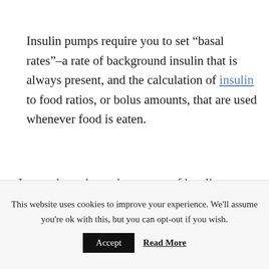Insulin pumps require you to set “basal rates”–a rate of background insulin that is always present, and the calculation of insulin to food ratios, or bolus amounts, that are used whenever food is eaten.
Learn about the various types of insulin pump available below.
This website uses cookies to improve your experience. We'll assume you're ok with this, but you can opt-out if you wish.